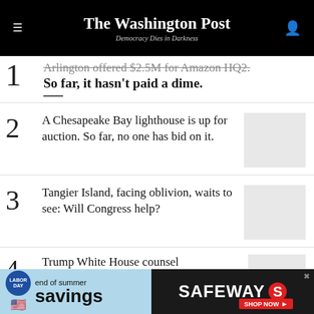The Washington Post
Democracy Dies in Darkness
1 Arlington offered $2.5M for Amazon HQ2. So far, it hasn't paid a dime.
2 A Chesapeake Bay lighthouse is up for auction. So far, no one has bid on it.
3 Tangier Island, facing oblivion, waits to see: Will Congress help?
4 Trump White House counsel
[Figure (screenshot): Safeway Labor Day end of summer savings advertisement banner]